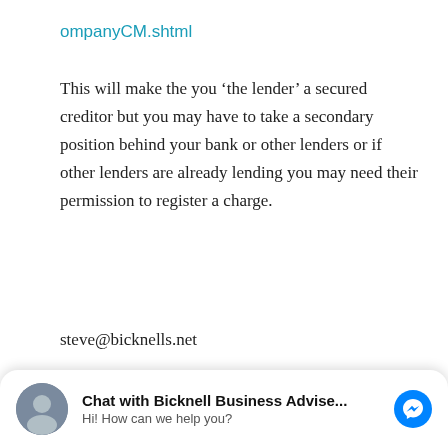ompanyCM.shtml
This will make the you ‘the lender’ a secured creditor but you may have to take a secondary position behind your bank or other lenders or if other lenders are already lending you may need their permission to register a charge.
steve@bicknells.net
Share this:
Chat with Bicknell Business Advise...
Hi! How can we help you?